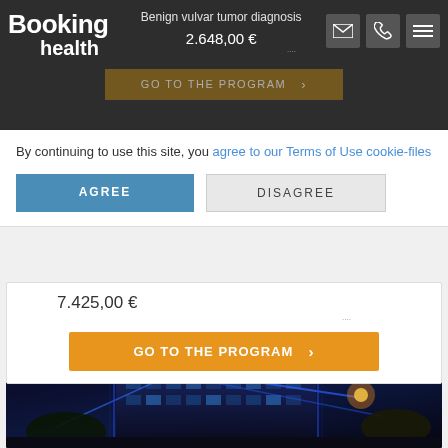Booking health
Benign vulvar tumor diagnosis
2.648,00 €
GO TO THE PROGRAM
By continuing to use this site, you agree to our Terms of Use cookie-files
AGREE
DISAGREE
7.425,00 €
GO TO THE PROGRAM
[Figure (photo): Night photograph of a modern multi-story building illuminated with blue neon lights, with trees and street lamp visible.]